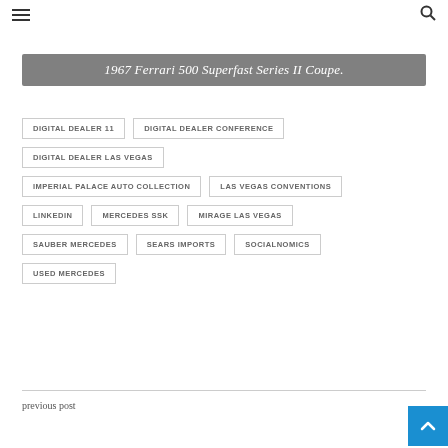≡  🔍
1967 Ferrari 500 Superfast Series II Coupe.
DIGITAL DEALER 11
DIGITAL DEALER CONFERENCE
DIGITAL DEALER LAS VEGAS
IMPERIAL PALACE AUTO COLLECTION
LAS VEGAS CONVENTIONS
LINKEDIN
MERCEDES SSK
MIRAGE LAS VEGAS
SAUBER MERCEDES
SEARS IMPORTS
SOCIALNOMICS
USED MERCEDES
previous post